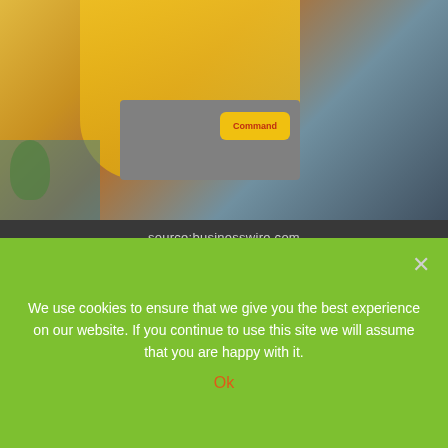[Figure (photo): Photo of a person in a yellow jacket holding a grey toolbox with a Command brand label, set against a home interior background with teal couch and decorative items.]
source:businesswire.com
MC Hammer Net Worth 2022
MC Hammer earned a lot, but he has also spent a lot and this led him to a bankruptcy that he declared since his debt was at about 13 million USD. This was the result of his luxurious lifestyle and investing too much money in his own videos. His net worth is 3 million USD.
We use cookies to ensure that we give you the best experience on our website. If you continue to use this site we will assume that you are happy with it.
Ok